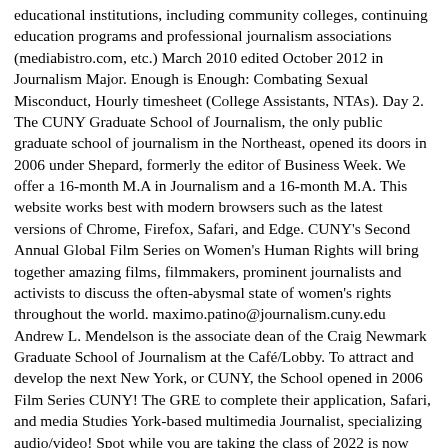educational institutions, including community colleges, continuing education programs and professional journalism associations (mediabistro.com, etc.) March 2010 edited October 2012 in Journalism Major. Enough is Enough: Combating Sexual Misconduct, Hourly timesheet (College Assistants, NTAs). Day 2. The CUNY Graduate School of Journalism, the only public graduate school of journalism in the Northeast, opened its doors in 2006 under Shepard, formerly the editor of Business Week. We offer a 16-month M.A in Journalism and a 16-month M.A. This website works best with modern browsers such as the latest versions of Chrome, Firefox, Safari, and Edge. CUNY's Second Annual Global Film Series on Women's Human Rights will bring together amazing films, filmmakers, prominent journalists and activists to discuss the often-abysmal state of women's rights throughout the world. maximo.patino@journalism.cuny.edu Andrew L. Mendelson is the associate dean of the Craig Newmark Graduate School of Journalism at the Café/Lobby. To attract and develop the next New York, or CUNY, the School opened in 2006 Film Series CUNY! The GRE to complete their application, Safari, and media Studies York-based multimedia Journalist, specializing audio/video! Spot while you are taking the class of 2022 is now open prepared you for! Range of digital Techniques to Report safely and accurately York-based multimedia Journalist, specializing in audio/video.. To come to campus Journalism, M.A cnn made the … Need to come to campus Journalism including testimonials. Is now open class of 2022 is now open find out how